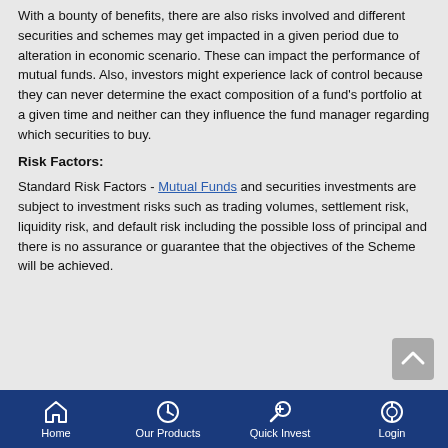With a bounty of benefits, there are also risks involved and different securities and schemes may get impacted in a given period due to alteration in economic scenario. These can impact the performance of mutual funds. Also, investors might experience lack of control because they can never determine the exact composition of a fund's portfolio at a given time and neither can they influence the fund manager regarding which securities to buy.
Risk Factors:
Standard Risk Factors - Mutual Funds and securities investments are subject to investment risks such as trading volumes, settlement risk, liquidity risk, and default risk including the possible loss of principal and there is no assurance or guarantee that the objectives of the Scheme will be achieved.
Home | Our Products | Quick Invest | Login